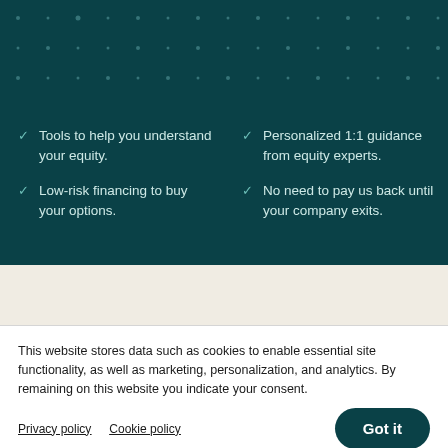[Figure (other): Decorative dot pattern on dark teal background]
Tools to help you understand your equity.
Low-risk financing to buy your options.
Personalized 1:1 guidance from equity experts.
No need to pay us back until your company exits.
This website stores data such as cookies to enable essential site functionality, as well as marketing, personalization, and analytics. By remaining on this website you indicate your consent.
Privacy policy
Cookie policy
Got it